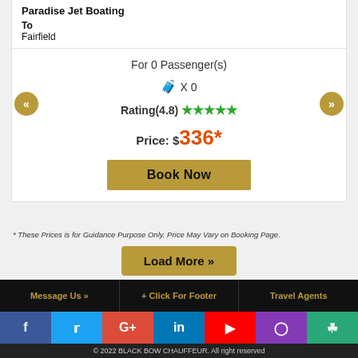Paradise Jet Boating
To
Fairfield
For 0 Passenger(s)
🧳 X 0
Rating(4.8) ★★★★★
Price: $336*
Book Now
* These Prices is for Guidance Purpose Only. Price May Vary on Booking Page.
Load More »
Message Us »  + Click For Footer  Travel Agents
f  t  G+  in  ▶  Instagram  TripAdvisor
© 2022 BLACK BOW CHAUFFEUR. All right reserved